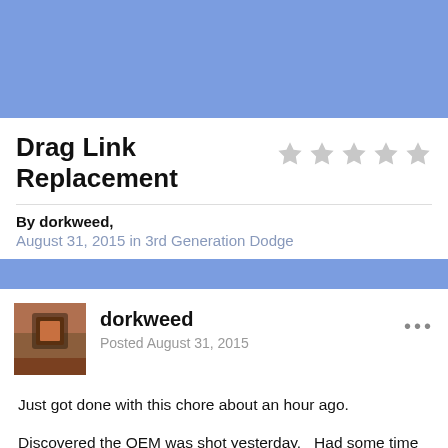[Figure (other): Blue banner at the top of the page]
Drag Link Replacement
By dorkweed,
August 31, 2015 in 3rd Generation Dodge
[Figure (other): Blue mid-page banner/divider]
[Figure (photo): User avatar thumbnail for dorkweed]
dorkweed
Posted August 31, 2015
Just got done with this chore about an hour ago.
Discovered the OEM was shot yesterday.   Had some time yesterday;  so I asked the neighbor to come over and lend a hand so I could check ball joints and tie rod ends etc.  Jack one side up with the floor jack,